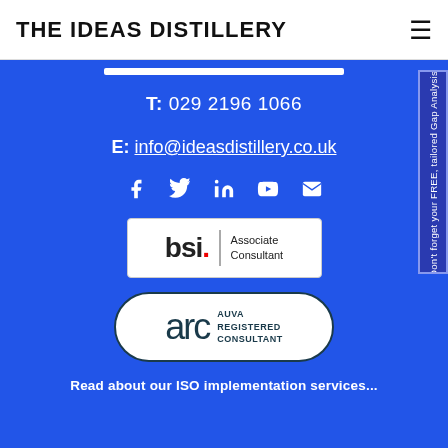THE IDEAS DISTILLERY
T: 029 2196 1066
E: info@ideasdistillery.co.uk
[Figure (logo): BSI Associate Consultant badge]
[Figure (logo): ARC AUVA Registered Consultant badge]
Read about our ISO implementation services...